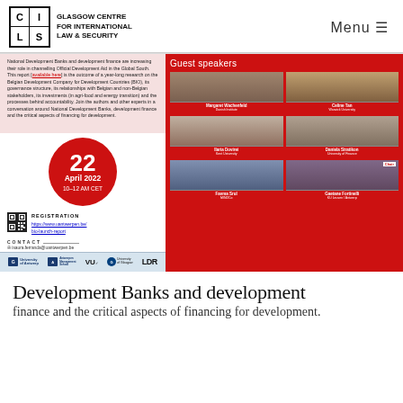Glasgow Centre for International Law & Security | Menu
[Figure (infographic): Event announcement poster with guest speakers grid on red background, date circle showing 22 April 2022 10-12 AM CET, registration QR code and URL, logos bar with partner institutions]
Development Banks and development finance
finance and the critical aspects of financing for development.